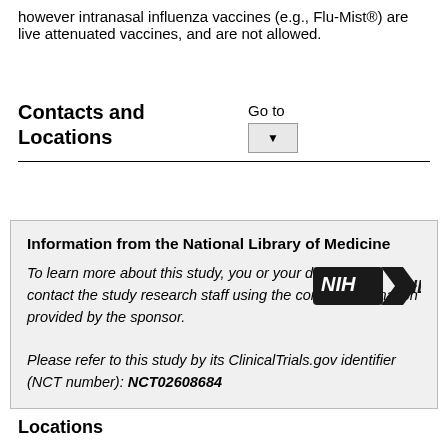however intranasal influenza vaccines (e.g., Flu-Mist®) are live attenuated vaccines, and are not allowed.
Contacts and Locations
Information from the National Library of Medicine
To learn more about this study, you or your doctor may contact the study research staff using the contact information provided by the sponsor.
Please refer to this study by its ClinicalTrials.gov identifier (NCT number): NCT02608684
Locations